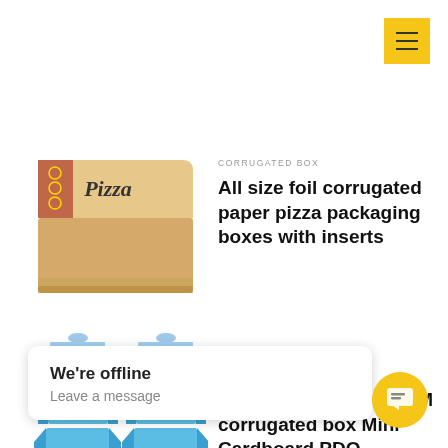[Figure (other): Yellow hamburger menu button in top right corner]
[Figure (photo): Corrugated cardboard pizza box with Pizza branding and decorative red/blue illustrations]
CORRUGATED BOX
All size foil corrugated paper pizza packaging boxes with inserts
[Figure (photo): Two blue POP display stands / Mini Cardboard PDQ units with tiered shelving]
CORRUGATED BOX
POP display stand OEM corrugated box Mini Cardboard PDQ
We're offline
Leave a message